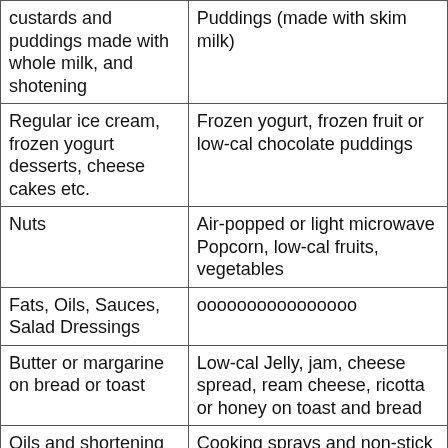| custards and puddings made with whole milk, and shotening | Puddings (made with skim milk) |
| Regular ice cream, frozen yogurt desserts, cheese cakes etc. | Frozen yogurt, frozen fruit or low-cal chocolate puddings |
| Nuts | Air-popped or light microwave Popcorn, low-cal fruits, vegetables |
| Fats, Oils, Sauces, Salad Dressings | oooooooooooooooo |
| Butter or margarine on bread or toast | Low-cal Jelly, jam, cheese spread, ream cheese, ricotta or honey on toast and bread |
| Oils and shortening in foods and frying | Cooking sprays and non-stick pans for cooking stir fries and sauteing with minimal oil |
|  | whipped butter, Low-cal |